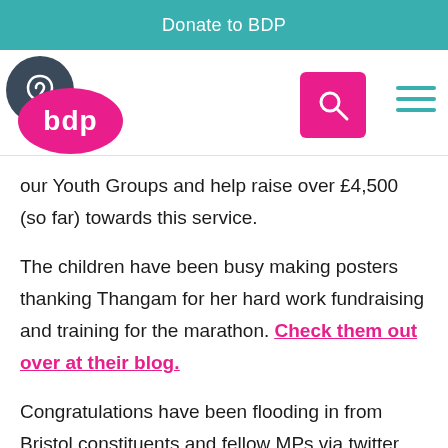Donate to BDP
[Figure (logo): BDP logo with ear accessibility icon, search button, and hamburger menu]
our Youth Groups and help raise over £4,500 (so far) towards this service.
The children have been busy making posters thanking Thangam for her hard work fundraising and training for the marathon. Check them out over at their blog.
Congratulations have been flooding in from Bristol constituents and fellow MPs via twitter...